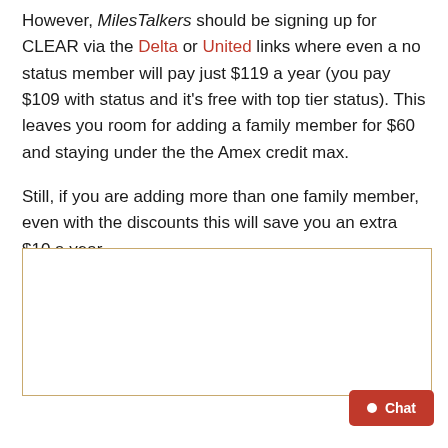However, MilesTalkers should be signing up for CLEAR via the Delta or United links where even a no status member will pay just $119 a year (you pay $109 with status and it's free with top tier status). This leaves you room for adding a family member for $60 and staying under the the Amex credit max.
Still, if you are adding more than one family member, even with the discounts this will save you an extra $10 a year.
[Figure (other): Empty bordered box placeholder for an image or embedded content]